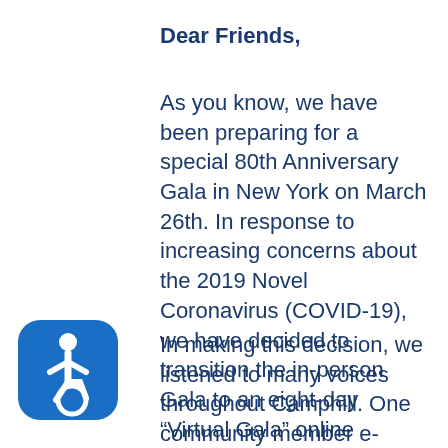Dear Friends,
As you know, we have been preparing for a special 80th Anniversary Gala in New York on March 26th. In response to increasing concerns about the 2019 Novel Coronavirus (COVID-19), we have decided to transition the in-person Gala to an eight-day “Virtual Gala” online fundraising campaign.
In making this decision, we listened to many voices throughout Camphill. One community member e-mailed this week to say that, “During these times of uncertainty surrounding the virus, we need to counter this with warmth and love.” This was one the deciding
[Figure (illustration): Blue rounded square icon with white wheelchair accessibility symbol]